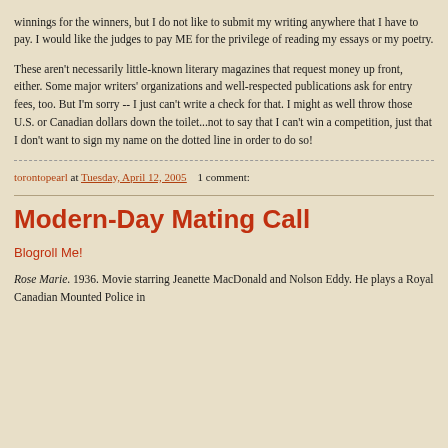winnings for the winners, but I do not like to submit my writing anywhere that I have to pay. I would like the judges to pay ME for the privilege of reading my essays or my poetry.
These aren't necessarily little-known literary magazines that request money up front, either. Some major writers' organizations and well-respected publications ask for entry fees, too. But I'm sorry -- I just can't write a check for that. I might as well throw those U.S. or Canadian dollars down the toilet...not to say that I can't win a competition, just that I don't want to sign my name on the dotted line in order to do so!
torontopearl at Tuesday, April 12, 2005   1 comment:
Modern-Day Mating Call
Blogroll Me!
Rose Marie. 1936. Movie starring Jeanette MacDonald and Nolson Eddy. He plays a Royal Canadian Mounted Police in